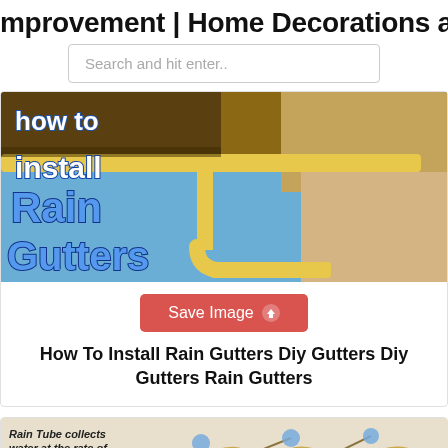mprovement | Home Decorations and
Search and hit enter..
[Figure (photo): How to Install Rain Gutters - promotional image with yellow gutters on a house roof against blue sky, bold text overlay reading 'how to install Rain Gutters']
Save Image
How To Install Rain Gutters Diy Gutters Diy Gutters Rain Gutters
[Figure (illustration): Diagram showing a rain tube system collecting water, with text 'Rain Tube collects water at the rate of over 100 inches per hour.' Shows leaf guards and water droplets on gutters.]